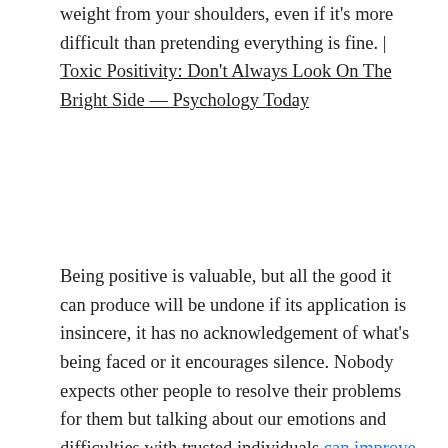weight from your shoulders, even if it's more difficult than pretending everything is fine. | Toxic Positivity: Don't Always Look On The Bright Side — Psychology Today
Being positive is valuable, but all the good it can produce will be undone if its application is insincere, it has no acknowledgement of what's being faced or it encourages silence. Nobody expects other people to resolve their problems for them but talking about our emotions and difficulties with trusted individuals can improve things significantly. Sharing something with a family member, friend, partner or therapist can often generate ideas and